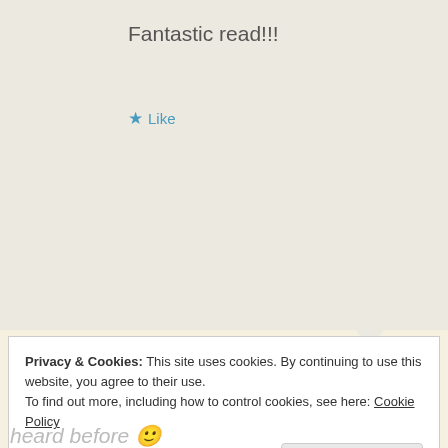Fantastic read!!!
★ Like
Reply
Amy
September 7, 2020 at 8:05 am
Privacy & Cookies: This site uses cookies. By continuing to use this website, you agree to their use.
To find out more, including how to control cookies, see here: Cookie Policy
Close and accept
heard before 🙂